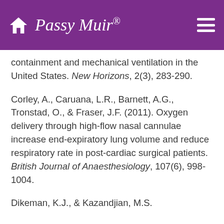Passy Muir
containment and mechanical ventilation in the United States. New Horizons, 2(3), 283-290.
Corley, A., Caruana, L.R., Barnett, A.G., Tronstad, O., & Fraser, J.F. (2011). Oxygen delivery through high-flow nasal cannulae increase end-expiratory lung volume and reduce respiratory rate in post-cardiac surgical patients. British Journal of Anaesthesiology, 107(6), 998-1004.
Dikeman, K.J., & Kazandjian, M.S.